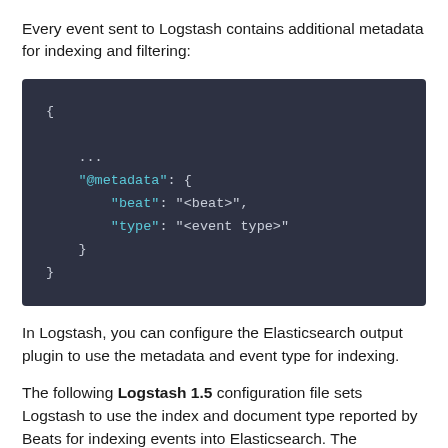Every event sent to Logstash contains additional metadata for indexing and filtering:
[Figure (screenshot): Dark-themed code block showing JSON metadata structure with @metadata field containing beat and type keys]
In Logstash, you can configure the Elasticsearch output plugin to use the metadata and event type for indexing.
The following Logstash 1.5 configuration file sets Logstash to use the index and document type reported by Beats for indexing events into Elasticsearch. The